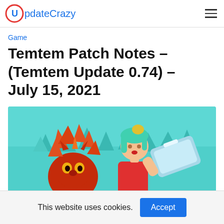UpdateCrazy
Game
Temtem Patch Notes – (Temtem Update 0.74) – July 15, 2021
[Figure (illustration): Temtem game art showing a red flame-like creature on the left and a female character with teal hair holding a device on the right, against a teal background with stylized trees.]
This website uses cookies. Accept